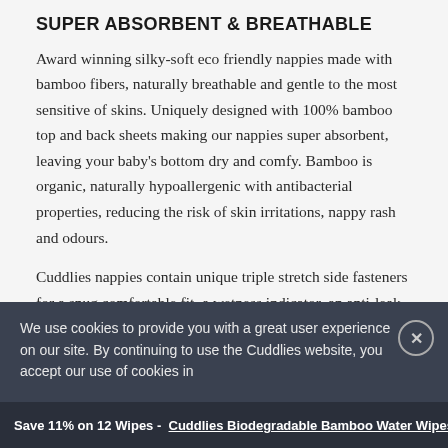SUPER ABSORBENT & BREATHABLE
Award winning silky-soft eco friendly nappies made with bamboo fibers, naturally breathable and gentle to the most sensitive of skins. Uniquely designed with 100% bamboo top and back sheets making our nappies super absorbent, leaving your baby's bottom dry and comfy. Bamboo is organic, naturally hypoallergenic with antibacterial properties, reducing the risk of skin irritations, nappy rash and odours.
Cuddlies nappies contain unique triple stretch side fasteners for a snug comfortable fit, a wetness indicator, an anti-leak barrier, magic tape to avoid happy-tugging and natural aloe liner to soothe baby's
We use cookies to provide you with a great user experience on our site. By continuing to use the Cuddlies website, you accept our use of cookies in
Save 11% on 12 Wipes - Cuddlies Biodegradable Bamboo Water Wipes - 4 pack